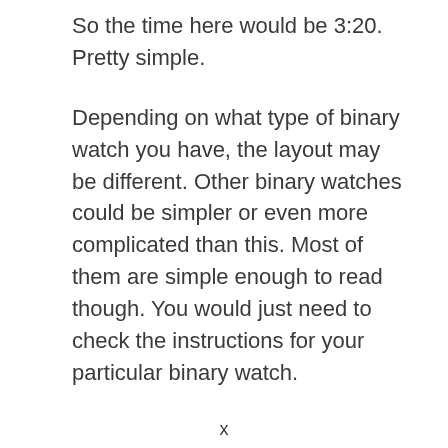So the time here would be 3:20. Pretty simple.
Depending on what type of binary watch you have, the layout may be different. Other binary watches could be simpler or even more complicated than this. Most of them are simple enough to read though. You would just need to check the instructions for your particular binary watch.
x